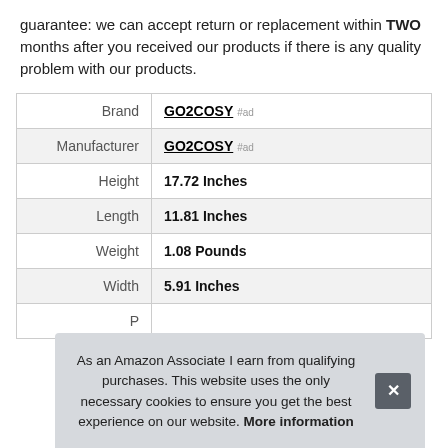guarantee: we can accept return or replacement within TWO months after you received our products if there is any quality problem with our products.
|  |  |
| --- | --- |
| Brand | GO2COSY #ad |
| Manufacturer | GO2COSY #ad |
| Height | 17.72 Inches |
| Length | 11.81 Inches |
| Weight | 1.08 Pounds |
| Width | 5.91 Inches |
| P |  |
As an Amazon Associate I earn from qualifying purchases. This website uses the only necessary cookies to ensure you get the best experience on our website. More information